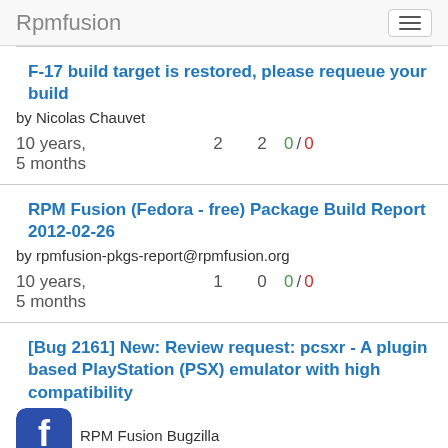Rpmfusion
F-17 build target is restored, please requeue your build
by Nicolas Chauvet
10 years, 5 months  2  2  0 / 0
RPM Fusion (Fedora - free) Package Build Report 2012-02-26
by rpmfusion-pkgs-report@rpmfusion.org
10 years, 5 months  1  0  0 / 0
[Bug 2161] New: Review request: pcsxr - A plugin based PlayStation (PSX) emulator with high compatibility
by RPM Fusion Bugzilla
10 years,  1  38  0 / 0